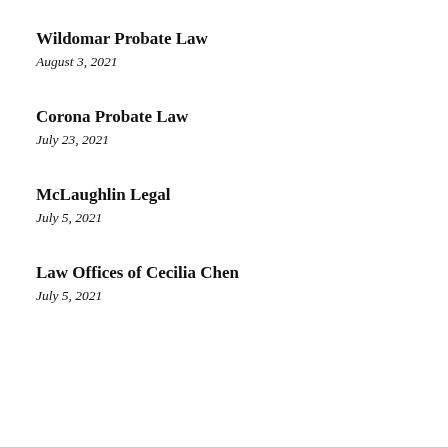Wildomar Probate Law
August 3, 2021
Corona Probate Law
July 23, 2021
McLaughlin Legal
July 5, 2021
Law Offices of Cecilia Chen
July 5, 2021